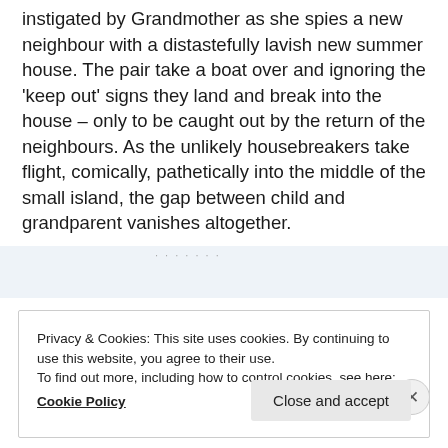instigated by Grandmother as she spies a new neighbour with a distastefully lavish new summer house. The pair take a boat over and ignoring the 'keep out' signs they land and break into the house – only to be caught out by the return of the neighbours. As the unlikely housebreakers take flight, comically, pathetically into the middle of the small island, the gap between child and grandparent vanishes altogether.
[Figure (other): Advertisement placeholder bar with light blue background and 'REPORT THIS AD' text]
Privacy & Cookies: This site uses cookies. By continuing to use this website, you agree to their use.
To find out more, including how to control cookies, see here:
Cookie Policy